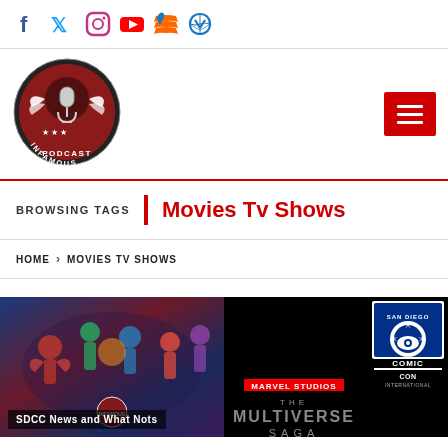Social media icons: Facebook, Twitter, Instagram, YouTube, RSS
[Figure (logo): Infamous Podcast circular logo with microphone and wings on dark red background]
BROWSING TAGS | Movies Tv Shows
HOME > MOVIES TV SHOWS
[Figure (screenshot): Left: SDCC News and What Nots - colorful comic book superhero group illustration. Right: Marvel Studios The Multiverse Saga with San Diego Comic-Con International logo]
SDCC News and What Nots